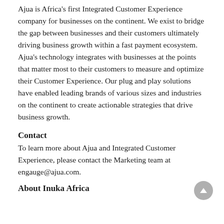Ajua is Africa’s first Integrated Customer Experience company for businesses on the continent. We exist to bridge the gap between businesses and their customers ultimately driving business growth within a fast payment ecosystem. Ajua’s technology integrates with businesses at the points that matter most to their customers to measure and optimize their Customer Experience. Our plug and play solutions have enabled leading brands of various sizes and industries on the continent to create actionable strategies that drive business growth.
Contact
To learn more about Ajua and Integrated Customer Experience, please contact the Marketing team at engauge@ajua.com.
About Inuka Africa